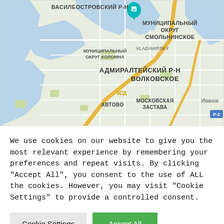[Figure (map): Street map of Saint Petersburg, Russia showing districts: ВАСИЛЕОСТРОВСКИЙ Р-Н, МУНИЦИПАЛЬНЫЙ ОКРУГ СМОЛЬНИНСКОЕ, VLADIMIRSKY, МУНИЦИПАЛЬНЫЙ ОКРУГ КОЛОМНА, АДМИРАЛТЕЙСКИЙ Р-Н, ВОЛКОВСКОЕ, МОСКОВСКАЯ ЗАСТАВА, АВТОВО, ЗСД road, Иванов, Р-2 label. A teal map pin is visible. Water bodies (Gulf of Finland/Neva) are shown in blue. Roads shown in white and yellow.]
We use cookies on our website to give you the most relevant experience by remembering your preferences and repeat visits. By clicking "Accept All", you consent to the use of ALL the cookies. However, you may visit "Cookie Settings" to provide a controlled consent.